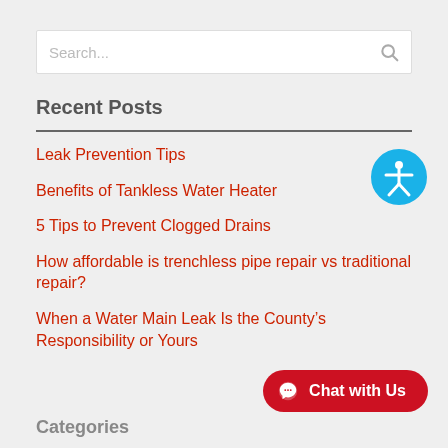Search...
Recent Posts
Leak Prevention Tips
Benefits of Tankless Water Heater
5 Tips to Prevent Clogged Drains
How affordable is trenchless pipe repair vs traditional repair?
When a Water Main Leak Is the County’s Responsibility or Yours
Categories
[Figure (illustration): Blue circular accessibility icon showing a person with arms outstretched]
[Figure (illustration): Red rounded chat button with speech bubble icon and text Chat with Us]